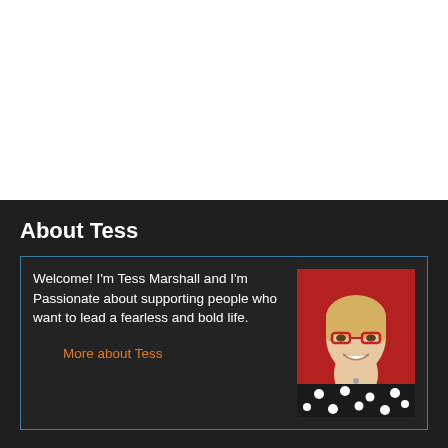About Tess
Welcome! I'm Tess Marshall and I'm Passionate about supporting people who want to lead a fearless and bold life.
[Figure (photo): Portrait photo of Tess Marshall, a smiling blonde woman wearing red glasses and a black polka-dot top, against a red background.]
More about Tess